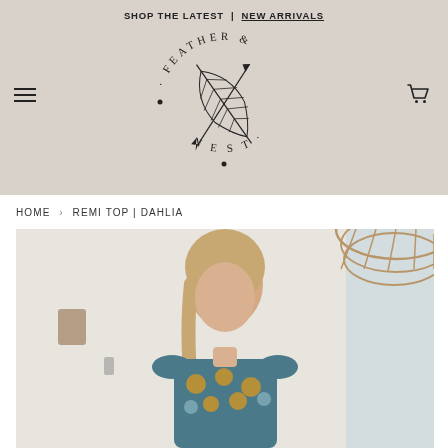SHOP THE LATEST | NEW ARRIVALS
[Figure (logo): Feather & Nest circular logo with feather illustration in center, text arcing around top reading FEATHER and bottom reading NEST]
HOME › REMI TOP | DAHLIA
[Figure (photo): Woman with blonde braided hair wearing a blue and mustard floral print top, standing in a bright room with a woven rattan pendant lamp visible in the top right corner]